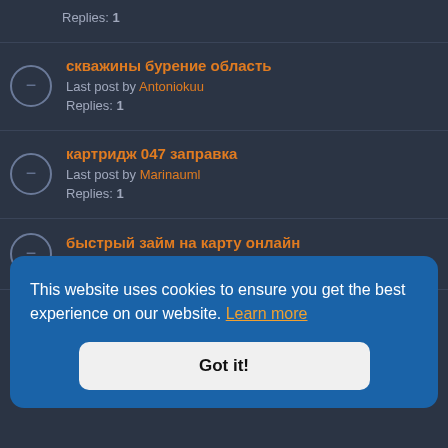Replies: 1
скважины бурение область
Last post by Antoniokuu
Replies: 1
картридж 047 заправка
Last post by Marinauml
Replies: 1
быстрый займ на карту онлайн
Last post by Infernotpw
финансовые займы
This website uses cookies to ensure you get the best experience on our website. Learn more
Got it!
займ нанозаймоф рф